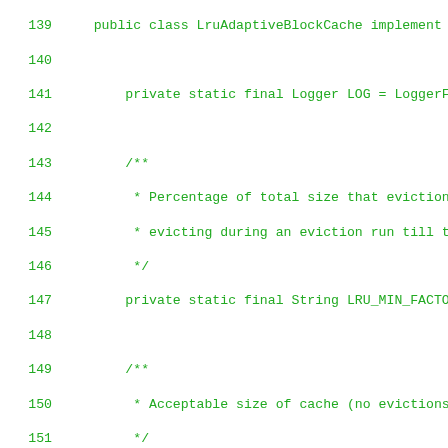[Figure (screenshot): Source code screenshot showing Java class LruAdaptiveBlockCache with line numbers 139-167, displaying private static final String field declarations and Javadoc comments for LRU block cache configuration constants including LRU_MIN_FACTOR, LRU_ACCEPTABLE, LRU_HARD_CAPACITY_LIMIT, LRU_SINGLE_PERCENTAGE, LRU_MULTI_PERCENTAGE, and LRU_MEMORY_PERCENTAGE.]